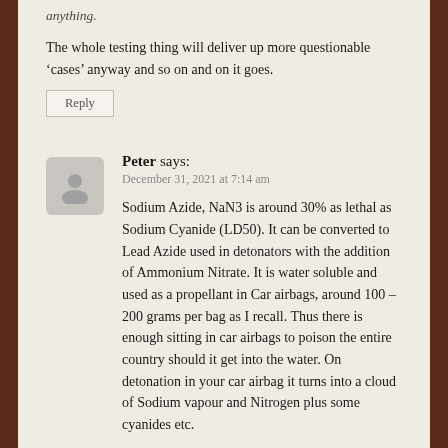anything.
The whole testing thing will deliver up more questionable ‘cases’ anyway and so on and on it goes.
Reply
Peter says:
December 31, 2021 at 7:14 am
Sodium Azide, NaN3 is around 30% as lethal as Sodium Cyanide (LD50). It can be converted to Lead Azide used in detonators with the addition of Ammonium Nitrate. It is water soluble and used as a propellant in Car airbags, around 100 – 200 grams per bag as I recall. Thus there is enough sitting in car airbags to poison the entire country should it get into the water. On detonation in your car airbag it turns into a cloud of Sodium vapour and Nitrogen plus some cyanides etc.
Reply